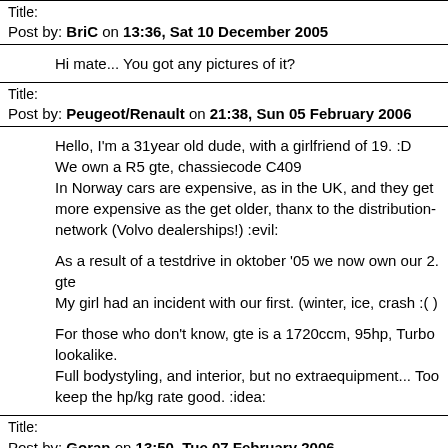Post by: BriC on 13:36, Sat 10 December 2005
Hi mate... You got any pictures of it?
Title:
Post by: Peugeot/Renault on 21:38, Sun 05 February 2006
Hello, I'm a 31year old dude, with a girlfriend of 19. :D
We own a R5 gte, chassiecode C409
In Norway cars are expensive, as in the UK, and they get more expensive as the get older, thanx to the distribution-network (Volvo dealerships!) :evil:

As a result of a testdrive in oktober '05 we now own our 2. gte
My girl had an incident with our first. (winter, ice, crash :( )

For those who don't know, gte is a 1720ccm, 95hp, Turbo lookalike.
Full bodystyling, and interior, but no extraequipment... Too keep the hp/kg rate good. :idea:
Title:
Post by: Goran on 13:50, Tue 07 February 2006
Welcome!  :D Hope we see you regularly on our forum....
You can also post some pictures in "your cars" section as well... :wink: